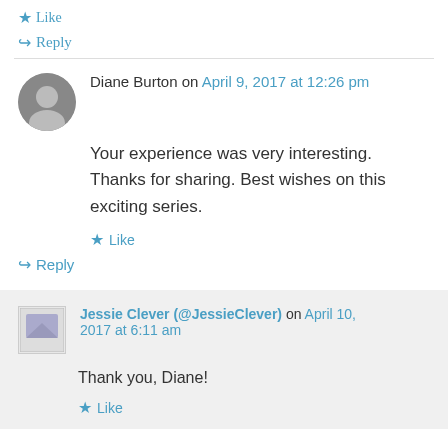★ Like
↪ Reply
Diane Burton on April 9, 2017 at 12:26 pm
Your experience was very interesting. Thanks for sharing. Best wishes on this exciting series.
★ Like
↪ Reply
Jessie Clever (@JessieClever) on April 10, 2017 at 6:11 am
Thank you, Diane!
★ Like